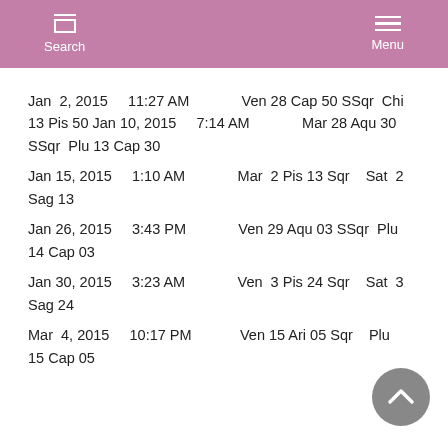Search  Menu
Jan  2, 2015    11:27 AM            Ven 28 Cap 50 SSqr  Chi 13 Pis 50 Jan 10, 2015    7:14 AM            Mar 28 Aqu 30 SSqr  Plu 13 Cap 30
Jan 15, 2015    1:10 AM            Mar  2 Pis 13 Sqr   Sat  2 Sag 13
Jan 26, 2015    3:43 PM            Ven 29 Aqu 03 SSqr  Plu 14 Cap 03
Jan 30, 2015    3:23 AM            Ven  3 Pis 24 Sqr   Sat  3 Sag 24
Mar  4, 2015   10:17 PM            Ven 15 Ari 05 Sqr   Plu 15 Cap 05